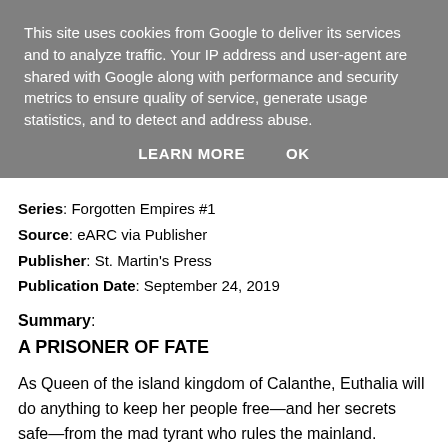This site uses cookies from Google to deliver its services and to analyze traffic. Your IP address and user-agent are shared with Google along with performance and security metrics to ensure quality of service, generate usage statistics, and to detect and address abuse.
LEARN MORE   OK
Series: Forgotten Empires #1
Source: eARC via Publisher
Publisher: St. Martin's Press
Publication Date: September 24, 2019
Summary:
A PRISONER OF FATE
As Queen of the island kingdom of Calanthe, Euthalia will do anything to keep her people free—and her secrets safe—from the mad tyrant who rules the mainland. Guided by a magic ring of her father's, lia plays the